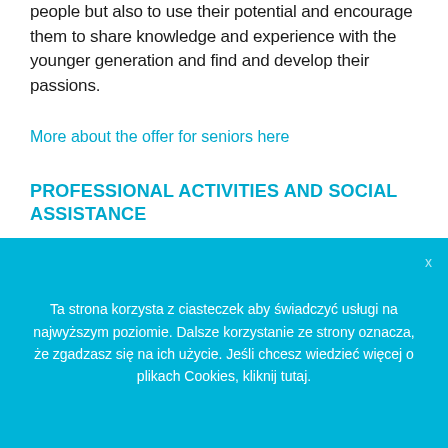people but also to use their potential and encourage them to share knowledge and experience with the younger generation and find and develop their passions.
More about the offer for seniors here
PROFESSIONAL ACTIVITIES AND SOCIAL ASSISTANCE
From the very beginning, the Foundation has been implementing
Ta strona korzysta z ciasteczek aby świadczyć usługi na najwyższym poziomie. Dalsze korzystanie ze strony oznacza, że zgadzasz się na ich użycie. Jeśli chcesz wiedzieć więcej o plikach Cookies, kliknij tutaj.